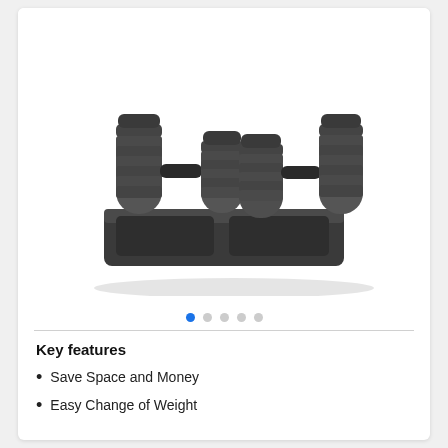[Figure (photo): Two adjustable dumbbells with multiple weight plates in a black docking/storage tray, photographed on a white background.]
● ○ ○ ○ ○  (carousel navigation dots, first dot active/blue)
Key features
Save Space and Money
Easy Change of Weight